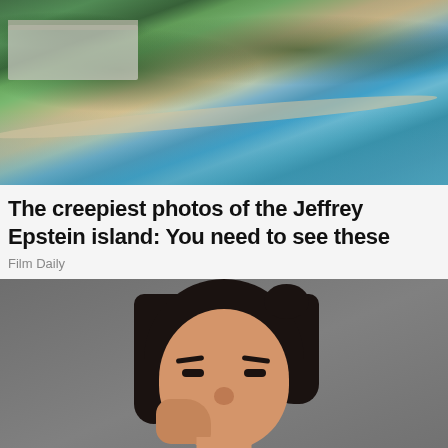[Figure (photo): Aerial photo of Jeffrey Epstein's island showing buildings among tropical palm trees along a shoreline with blue-green water]
The creepiest photos of the Jeffrey Epstein island: You need to see these
Film Daily
[Figure (photo): Woman with dark hair pinching her nose with fingers, making a disgusted expression, photographed against a gray background]